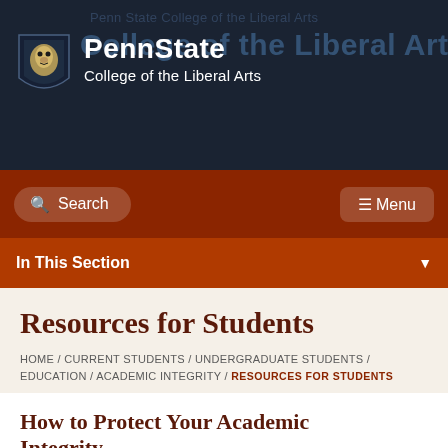[Figure (logo): Penn State Nittany Lion shield logo with Penn State College of the Liberal Arts text]
Penn State College of the Liberal Arts
Search
Menu
In This Section
Resources for Students
HOME / CURRENT STUDENTS / UNDERGRADUATE STUDENTS / EDUCATION / ACADEMIC INTEGRITY / RESOURCES FOR STUDENTS
How to Protect Your Academic Integrity
Academic Integrity and the Penn State University